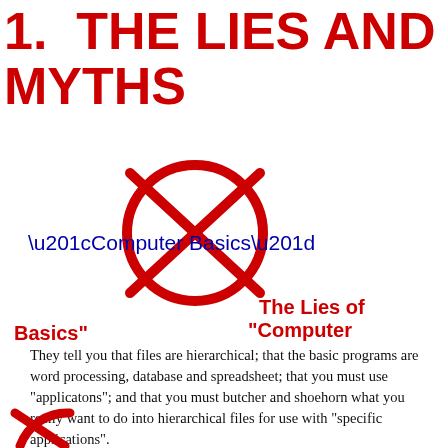1.  THE LIES AND MYTHS
[Figure (illustration): A red circle with a large red X through it (crossed-out symbol), overlaid with the text "Computer Basics" in blue]
The Lies of "Computer Basics"
They tell you that files are hierarchical; that the basic programs are word processing, database and spreadsheet; that you must use "applicatons"; and that you must butcher and shoehorn what you really want to do into hierarchical files for use with "specific applications".
Actually these are half-lies.  They describe the computer world as it is, but not as it can and should be.
[Figure (illustration): Partial red crossed-out circle symbol at bottom of page]